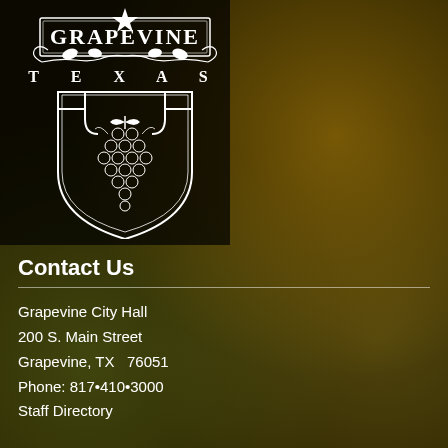[Figure (logo): Grapevine Texas city seal/logo — white line art on dark background showing shield with grape cluster, 'GRAPEVINE' text at top, 'TEXAS' below with decorative vine and leaves, star above]
Contact Us
Grapevine City Hall
200 S. Main Street
Grapevine, TX  76051
Phone: 817•410•3000
Staff Directory